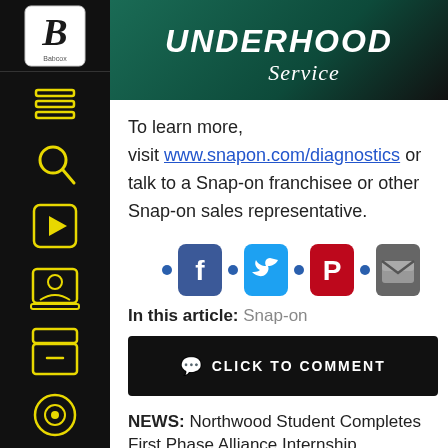UNDERHOOD Service
To learn more, visit www.snapon.com/diagnostics or talk to a Snap-on franchisee or other Snap-on sales representative.
[Figure (infographic): Social share icons row: Facebook, Twitter, Pinterest, Email with blue dots between them]
In this article: Snap-on
CLICK TO COMMENT
NEWS: Northwood Student Completes First Phase Alliance Internship